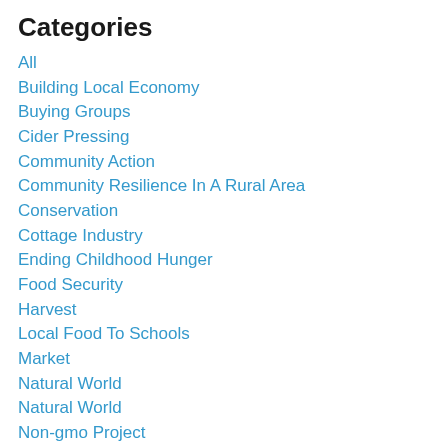Categories
All
Building Local Economy
Buying Groups
Cider Pressing
Community Action
Community Resilience In A Rural Area
Conservation
Cottage Industry
Ending Childhood Hunger
Food Security
Harvest
Local Food To Schools
Market
Natural World
Natural World
Non-gmo Project
Rural Life
Rural Life